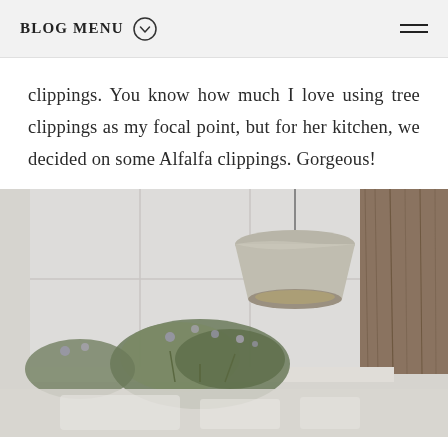BLOG MENU
clippings. You know how much I love using tree clippings as my focal point, but for her kitchen, we decided on some Alfalfa clippings. Gorgeous!
[Figure (photo): Kitchen interior photo showing a metallic pendant lamp hanging from the ceiling, white paneled walls, a wooden accent panel on the right, and greenery/alfalfa clippings in a vase on the counter below. The bottom portion transitions to a lighter, slightly blurred surface.]